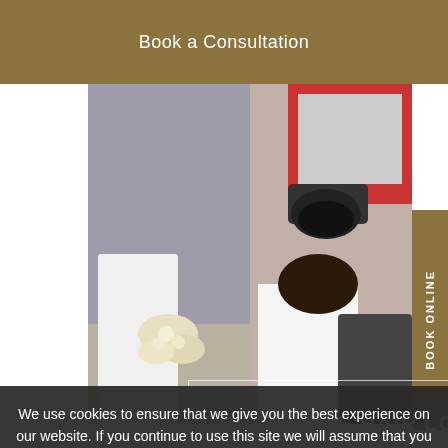Book a Consultation
[Figure (photo): A split/composite image showing a hair salon setting: left side shows a person in a white top with flowers, right side shows a person receiving a hair treatment under a machine.]
CHRISTINA'S HAIR LOSS STORY
We use cookies to ensure that we give you the best experience on our website. If you continue to use this site we will assume that you are happy with it.
OK
Privacy Policy